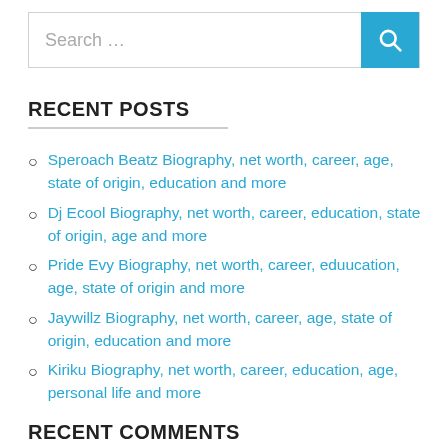[Figure (other): Search bar with text 'Search …' and a blue search button with magnifying glass icon]
RECENT POSTS
Speroach Beatz Biography, net worth, career, age, state of origin, education and more
Dj Ecool Biography, net worth, career, education, state of origin, age and more
Pride Evy Biography, net worth, career, eduucation, age, state of origin and more
Jaywillz Biography, net worth, career, age, state of origin, education and more
Kiriku Biography, net worth, career, education, age, personal life and more
RECENT COMMENTS